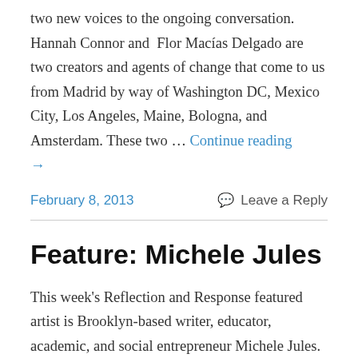two new voices to the ongoing conversation. Hannah Connor and Flor Macías Delgado are two creators and agents of change that come to us from Madrid by way of Washington DC, Mexico City, Los Angeles, Maine, Bologna, and Amsterdam. These two … Continue reading →
February 8, 2013       Leave a Reply
Feature: Michele Jules
This week's Reflection and Response featured artist is Brooklyn-based writer, educator, academic, and social entrepreneur Michele Jules. With a focus on youth empowerment, Michele utilizes dialogue grounded in historical truths to build toward the future. We're excited to